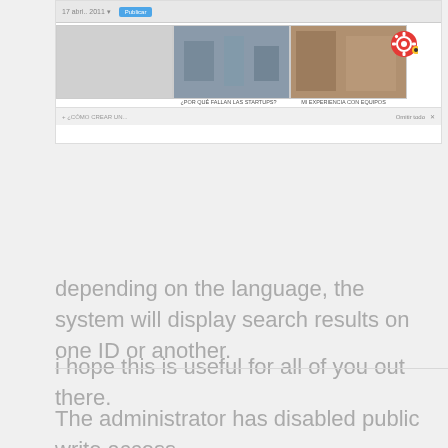[Figure (screenshot): A browser/app screenshot showing a webpage with two photos (office/gym scenes), Spanish text captions '¿POR QUÉ FALLAN LAS STARTUPS?' and 'MI EXPERIENCIA CON EQUIPOS', a gear/settings icon, and navigation bars.]
depending on the language, the system will display search results on one ID or another.
i hope this is useful for all of you out there.
The administrator has disabled public write access.